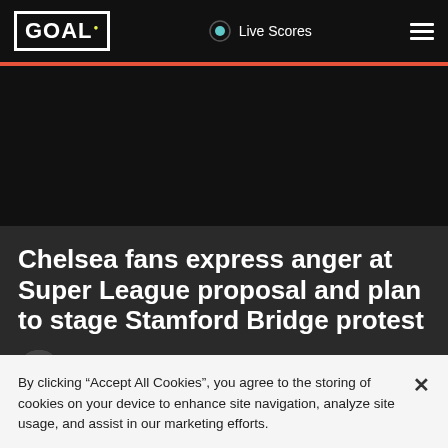GOAL · Live Scores
Chelsea fans express anger at Super League proposal and plan to stage Stamford Bridge protest
Nizaar Kinsella
Apr 19, 2021 13:59+00:00
By clicking “Accept All Cookies”, you agree to the storing of cookies on your device to enhance site navigation, analyze site usage, and assist in our marketing efforts.